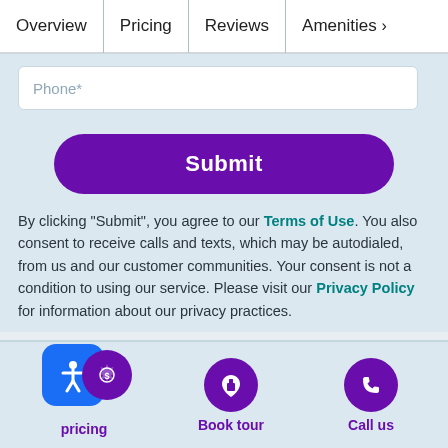Overview | Pricing | Reviews | Amenities >
Phone*
Submit
By clicking “Submit”, you agree to our Terms of Use. You also consent to receive calls and texts, which may be autodialed, from us and our customer communities. Your consent is not a condition to using our service. Please visit our Privacy Policy for information about our privacy practices.
pricing | Book tour | Call us